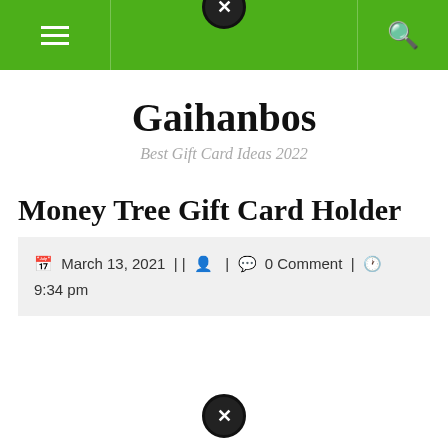Gaihanbos — navigation bar with hamburger menu and search icon
Gaihanbos
Best Gift Card Ideas 2022
Money Tree Gift Card Holder
March 13, 2021 | | | 0 Comment | 9:34 pm